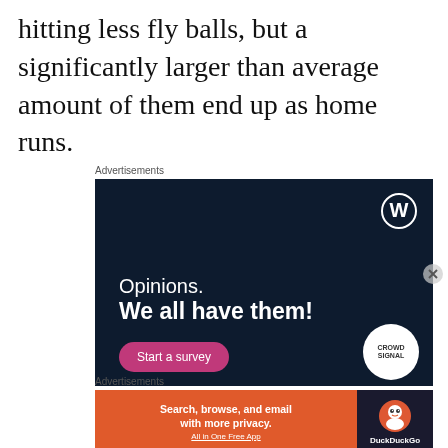hitting less fly balls, but a significantly larger than average amount of them end up as home runs.
[Figure (other): WordPress/CrowdSignal advertisement with dark navy background. Shows 'Opinions. We all have them!' text with a 'Start a survey' pink button and CrowdSignal logo.]
[Figure (other): DuckDuckGo advertisement: 'Search, browse, and email with more privacy. All in One Free App' on orange background with DuckDuckGo logo on dark background.]